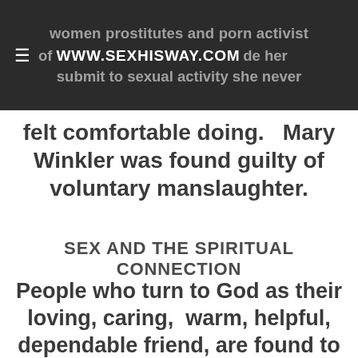women prostitutes and porn activist of WWW.SEXHISWAY.COM de her submit to sexual activity she never
felt comfortable doing.   Mary Winkler was found guilty of voluntary manslaughter.
SEX AND THE SPIRITUAL CONNECTION
People who turn to God as their loving, caring,  warm, helpful, dependable friend, are found to be less lonely,  pessimistic, depressed, or anxious than people without any religious  beliefs or those who view